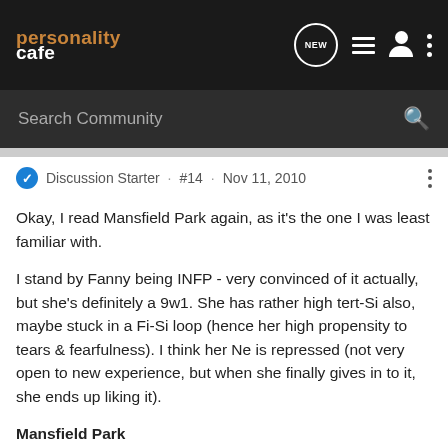[Figure (screenshot): PersonalityCafe website logo in top navigation bar — 'personality' in orange/brown and 'cafe' in white]
personalitycafe — NEW — navigation icons
Search Community
Discussion Starter · #14 · Nov 11, 2010
Okay, I read Mansfield Park again, as it's the one I was least familiar with.
I stand by Fanny being INFP - very convinced of it actually, but she's definitely a 9w1. She has rather high tert-Si also, maybe stuck in a Fi-Si loop (hence her high propensity to tears & fearfulness). I think her Ne is repressed (not very open to new experience, but when she finally gives in to it, she ends up liking it).
Mansfield Park
Fanny Price - INFP 9w1
Edmund Bertram - ENFJ 1w2